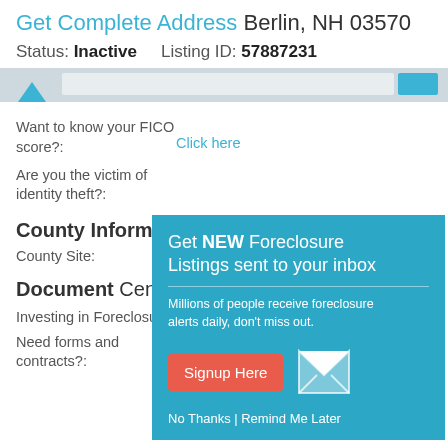Get Complete Address Berlin, NH 03570
Status: Inactive   Listing ID: 57887231
Want to know your FICO score?:
Click here
Are you the victim of identity theft?:
County Information
County Site:
Document Center
Investing in Foreclosures
Need forms and contracts?:
Download documents
[Figure (infographic): Popup overlay: Get NEW Foreclosure Listings sent to your inbox. Millions of people receive foreclosure alerts daily, don't miss out. Signup Here button. No Thanks | Remind Me Later links.]